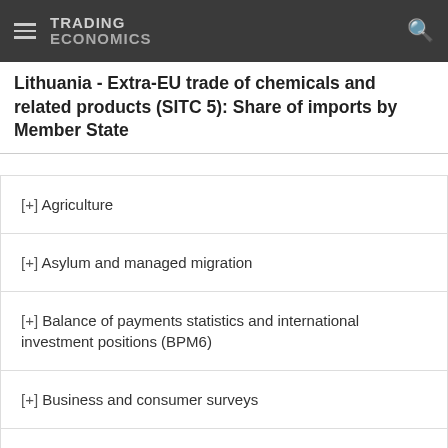TRADING ECONOMICS
Lithuania - Extra-EU trade of chemicals and related products (SITC 5): Share of imports by Member State
[+] Agriculture
[+] Asylum and managed migration
[+] Balance of payments statistics and international investment positions (BPM6)
[+] Business and consumer surveys
[+] Construction, building and civil engineering
[+] Education
[+] Electronic solutions